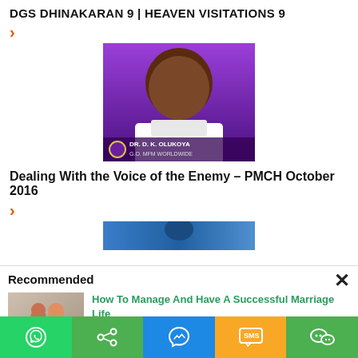DGS DHINAKARAN 9 | HEAVEN VISITATIONS 9
›
[Figure (photo): Photo of Dr. D. K. Olukoya with purple background and name label 'DR. D. K. OLUKOYA G.O. MFM WORLDWIDE']
Dealing With the Voice of the Enemy – PMCH October 2016
›
[Figure (photo): Partial thumbnail of next content item, blue background]
Recommended
[Figure (photo): Thumbnail image of couple for marriage article]
How To Manage And Have A Successful Marriage Life